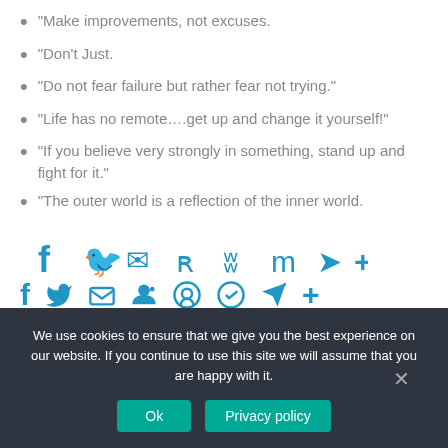“Make improvements, not excuses.
“Don’t Just.
“Do not fear failure but rather fear not trying.”
“Life has no remote….get up and change it yourself!”
“If you believe very strongly in something, stand up and fight for it.”
“The outer world is a reflection of the inner world.
[Figure (infographic): Social share icons row: Facebook, Twitter, Email, Reddit, WhatsApp, Messenger, Telegram, Share/Plus]
We use cookies to ensure that we give you the best experience on our website. If you continue to use this site we will assume that you are happy with it.